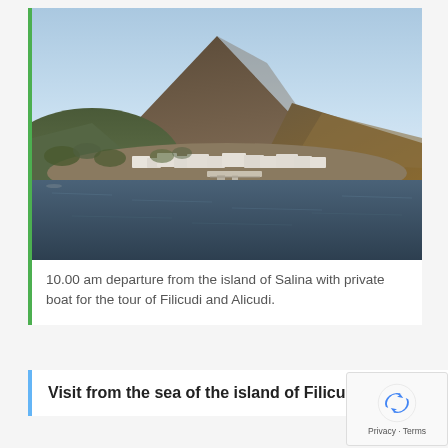[Figure (photo): Aerial/sea-level view of a volcanic island (likely Salina) with a large conical volcano in the background, white coastal village buildings at the base of the volcano along the shoreline, and calm dark blue sea in the foreground with a small pier visible.]
10.00 am departure from the island of Salina with private boat for the tour of Filicudi and Alicudi.
Visit from the sea of the island of Filicudi